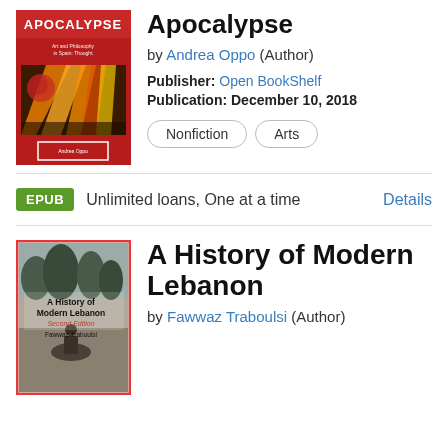[Figure (illustration): Book cover of 'Apocalypse' with red background and colorful abstract art imagery]
Apocalypse
by Andrea Oppo (Author)
Publisher: Open BookShelf
Publication: December 10, 2018
Nonfiction
Arts
EPUB  Unlimited loans, One at a time  Details
[Figure (illustration): Book cover of 'A History of Modern Lebanon Second Edition' by Fawwaz Traboulsi with black and white photo of a person on horseback, red border]
A History of Modern Lebanon
by Fawwaz Traboulsi (Author)